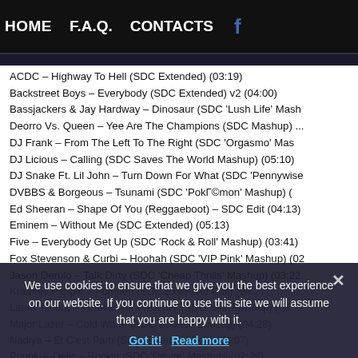HOME   F.A.Q.   CONTACTS   f
ACDC – Highway To Hell (SDC Extended) (03:19)
Backstreet Boys – Everybody (SDC Extended) v2 (04:00)
Bassjackers & Jay Hardway – Dinosaur (SDC 'Lush Life' Mash...
Deorro Vs. Queen – Yee Are The Champions (SDC Mashup) ...
DJ Frank – From The Left To The Right (SDC 'Orgasmo' Mas...
DJ Licious – Calling (SDC Saves The World Mashup) (05:10)
DJ Snake Ft. Lil John – Turn Down For What (SDC 'Pennywise...
DVBBS & Borgeous – Tsunami (SDC 'PokГ©mon' Mashup) (...
Ed Sheeran – Shape Of You (Reggaeboot) – SDC Edit (04:13)
Eminem – Without Me (SDC Extended) (05:13)
Five – Everybody Get Up (SDC 'Rock & Roll' Mashup) (03:41)
Fox Stevenson & Curbi – Hoohah (SDC 'VIP Pink' Mashup) (0...
Jason Derulo – Talk Dirty (SDC 'Cheap Thrills' Mashup) (03:22...
Kraantje Pappie – Pompen (SDC Extended Edit) (04:27)
Laura Tesoro – What's The Pressure (SDC Sex' Mashup) (03:...
Major Lazer – Cold Water (SDC Bounce Bootleg) (04:28)
Nadiya – Et C'est Parti (SDC Extended Edit) (04:07)
Phunk-A-Delic – Rockin (SDC 'Desire' Mashup) (02:29)
Samson & Gert – Ochtendmicroastiek (SDC Overnacht Mashup...
We use cookies to ensure that we give you the best experience on our website. If you continue to use this site we will assume that you are happy with it.
Got it!   Read more